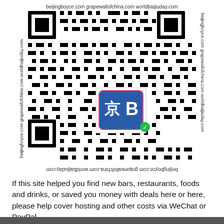[Figure (other): QR code with WeChat logo in center (京B logo with green checkmark), surrounded by text labels on all four sides reading 'beijingboyce.com grapewallofchina.com worldbaijiuday.com' — top and bottom (bottom mirrored/upside-down), left and right sides rotated vertically.]
If this site helped you find new bars, restaurants, foods and drinks, or saved you money with deals here or here, please help cover hosting and other costs via WeChat or PayPal.